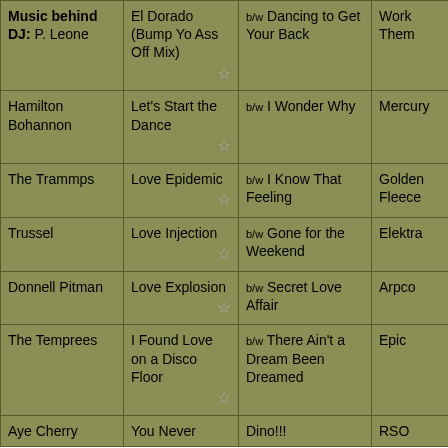| Artist | Title | B/W | Label | Year | Time |
| --- | --- | --- | --- | --- | --- |
| Music behind DJ: P. Leone | El Dorado (Bump Yo Ass Off Mix) | b/w Dancing to Get Your Back | Work Them | 2018 | 0:00:00 (Pop-up) |
| Hamilton Bohannon | Let's Start the Dance | b/w I Wonder Why | Mercury | 1978 | 0:01:51 (Pop-up) |
| The Trammps | Love Epidemic | b/w I Know That Feeling | Golden Fleece | 1973 | 0:07:27 (Pop-up) |
| Trussel | Love Injection | b/w Gone for the Weekend | Elektra | 1979 | 0:12:06 (Pop-up) |
| Donnell Pitman | Love Explosion | b/w Secret Love Affair | Arpco | 1982 | 0:19:35 (Pop-up) |
| The Temprees | I Found Love on a Disco Floor | b/w There Ain't a Dream Been Dreamed | Epic | 1976 | 0:25:29 (Pop-up) |
| Aye Cherry | You Never | Dino!!! | RSO | 1980 | 0:31:49 |